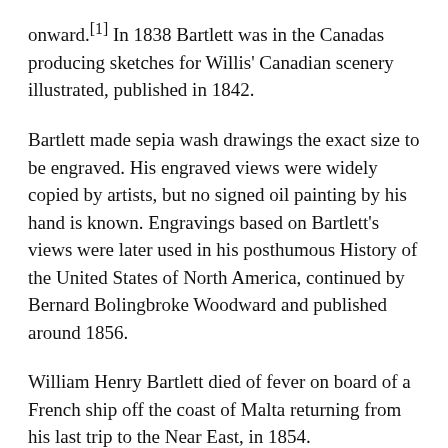onward.[1] In 1838 Bartlett was in the Canadas producing sketches for Willis' Canadian scenery illustrated, published in 1842.
Bartlett made sepia wash drawings the exact size to be engraved. His engraved views were widely copied by artists, but no signed oil painting by his hand is known. Engravings based on Bartlett's views were later used in his posthumous History of the United States of North America, continued by Bernard Bolingbroke Woodward and published around 1856.
William Henry Bartlett died of fever on board of a French ship off the coast of Malta returning from his last trip to the Near East, in 1854.
Bartletts primary concern was to render “lively